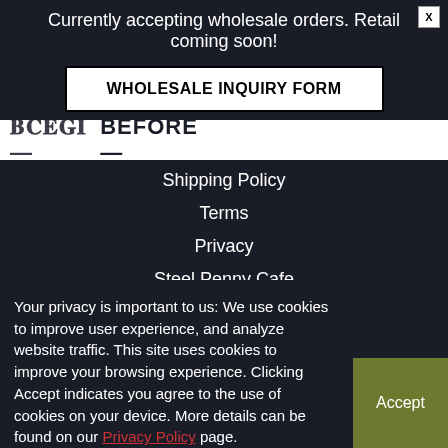Currently accepting wholesale orders. Retail coming soon!
WHOLESALE INQUIRY FORM
[Figure (logo): Store logo text partially visible]
Shipping Policy
Terms
Privacy
Steel Penny Cafe
Wooden Stickers
Your privacy is important to us: We use cookies to improve user experience, and analyze website traffic. This site uses cookies to improve your browsing experience. Clicking Accept indicates you agree to the use of cookies on your device. More details can be found on our Privacy Policy page.